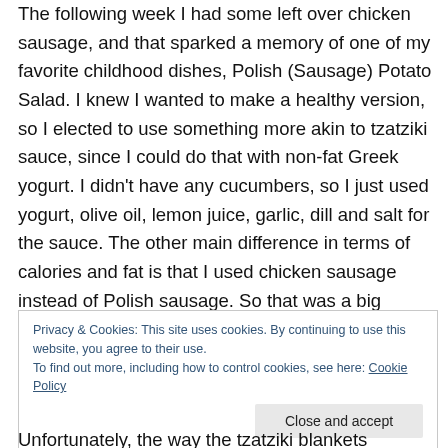The following week I had some left over chicken sausage, and that sparked a memory of one of my favorite childhood dishes, Polish (Sausage) Potato Salad. I knew I wanted to make a healthy version, so I elected to use something more akin to tzatziki sauce, since I could do that with non-fat Greek yogurt. I didn't have any cucumbers, so I just used yogurt, olive oil, lemon juice, garlic, dill and salt for the sauce. The other main difference in terms of calories and fat is that I used chicken sausage instead of Polish sausage. So that was a big savings.
Privacy & Cookies: This site uses cookies. By continuing to use this website, you agree to their use. To find out more, including how to control cookies, see here: Cookie Policy
Unfortunately, the way the tzatziki blankets everything, it's